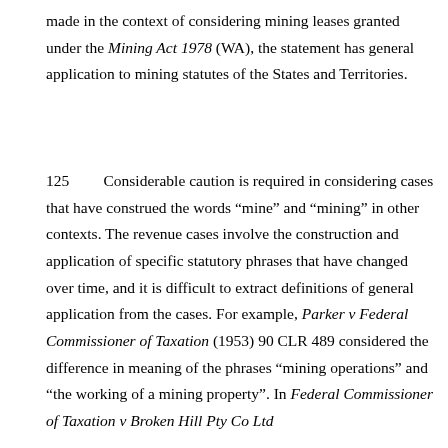made in the context of considering mining leases granted under the Mining Act 1978 (WA), the statement has general application to mining statutes of the States and Territories.
125    Considerable caution is required in considering cases that have construed the words “mine” and “mining” in other contexts. The revenue cases involve the construction and application of specific statutory phrases that have changed over time, and it is difficult to extract definitions of general application from the cases. For example, Parker v Federal Commissioner of Taxation (1953) 90 CLR 489 considered the difference in meaning of the phrases “mining operations” and “the working of a mining property”. In Federal Commissioner of Taxation v Broken Hill Pty Co Ltd